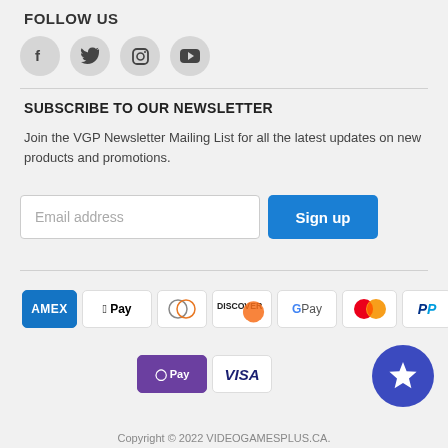FOLLOW US
[Figure (other): Social media icons: Facebook, Twitter, Instagram, YouTube]
SUBSCRIBE TO OUR NEWSLETTER
Join the VGP Newsletter Mailing List for all the latest updates on new products and promotions.
[Figure (other): Email address input field and Sign up button]
[Figure (other): Payment method logos: AMEX, Apple Pay, Diners Club, Discover, Google Pay, Mastercard, PayPal, OPay, Visa]
Copyright © 2022 VIDEOGAMESPLUS.CA.